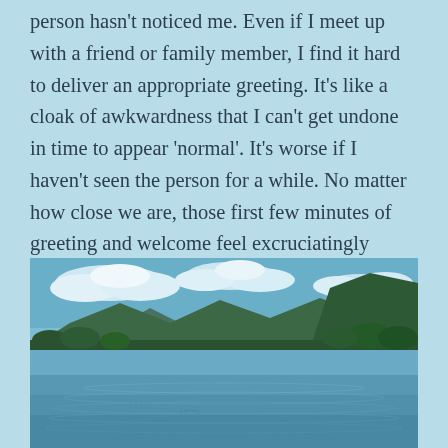person hasn't noticed me. Even if I meet up with a friend or family member, I find it hard to deliver an appropriate greeting. It's like a cloak of awkwardness that I can't get undone in time to appear 'normal'. It's worse if I haven't seen the person for a while. No matter how close we are, those first few minutes of greeting and welcome feel excruciatingly awkward. It's almost like I'm starting from scratch every time I see someone after a few weeks or months apart.
[Figure (photo): A scenic landscape photograph showing a calm lake in the foreground with rippling water, green forested hills and mountains in the background, and a partly cloudy blue sky above.]